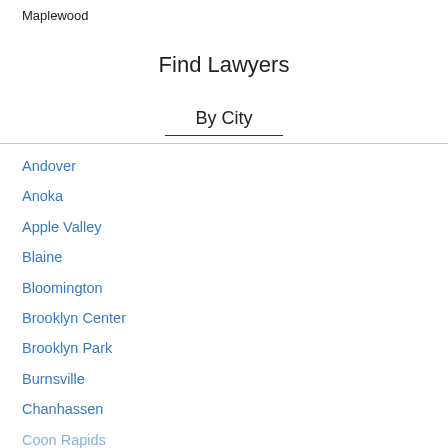Maplewood
Find Lawyers
By City
Andover
Anoka
Apple Valley
Blaine
Bloomington
Brooklyn Center
Brooklyn Park
Burnsville
Chanhassen
Coon Rapids